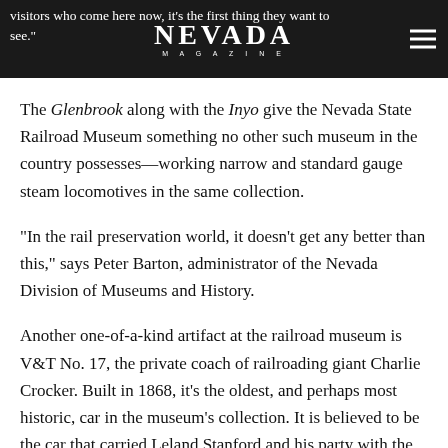visitors who come here now, it's the first thing they want to see.
The Glenbrook along with the Inyo give the Nevada State Railroad Museum something no other such museum in the country possesses—working narrow and standard gauge steam locomotives in the same collection.
“In the rail preservation world, it doesn’t get any better than this,” says Peter Barton, administrator of the Nevada Division of Museums and History.
Another one-of-a-kind artifact at the railroad museum is V&T No. 17, the private coach of railroading giant Charlie Crocker. Built in 1868, it’s the oldest, and perhaps most historic, car in the museum’s collection. It is believed to be the car that carried Leland Stanford and his party with the Golden Spike—the ceremonial final spike—to the completion of the Transcontinental Railroad at